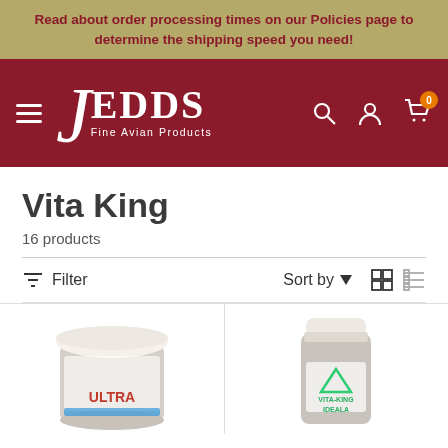Read about order processing times on our Policies page to determine the shipping speed you need!
[Figure (logo): JEDDS Fine Avian Products logo with hamburger menu, search, account, and cart icons on a dark red navigation bar]
Vita King
16 products
Filter  Sort by  [grid view] [list view]
[Figure (photo): Two product bottles: left is Ultra product jar, right is Vita-King Ideala bottle]